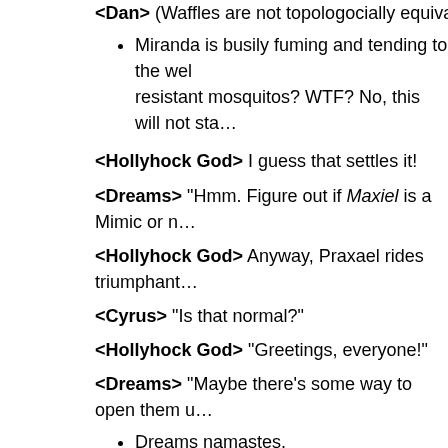<Dan> (Waffles are not topologocially equivalent to c…
Miranda is busily fuming and tending to the wel… resistant mosquitos? WTF? No, this will not sta…
<Hollyhock God> I guess that settles it!
<Dreams> "Hmm. Figure out if Maxiel is a Mimic or n…
<Hollyhock God> Anyway, Praxael rides triumphant…
<Cyrus> "Is that normal?"
<Hollyhock God> "Greetings, everyone!"
<Dreams> "Maybe there's some way to open them u…
Dreams namastes.
<Miranda> (Praxael = Farnsworth!)
<Dreams> (No, that would be "Good news, everyone…
<Dreams> ("I've convinced the Council of Four to on…